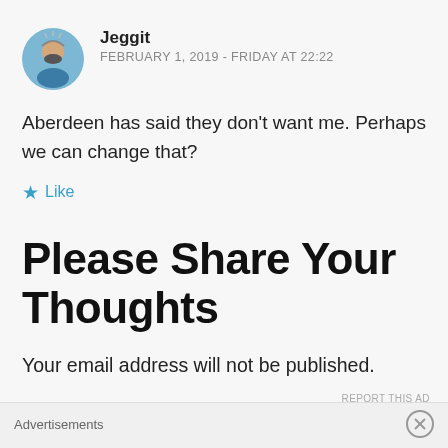[Figure (photo): Circular avatar photo of a man with a beard]
Jeggit
FEBRUARY 1, 2019 - FRIDAY AT 22:22
Aberdeen has said they don't want me. Perhaps we can change that?
★ Like
Please Share Your Thoughts
Your email address will not be published.
Advertisements